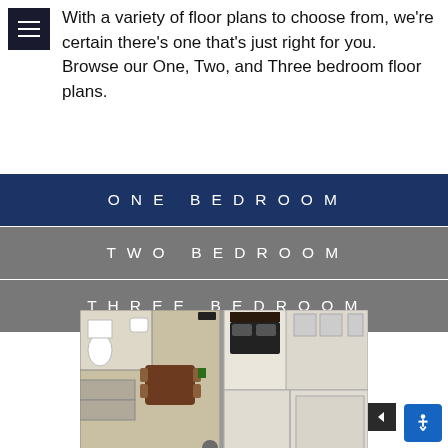With a variety of floor plans to choose from, we're certain there's one that's just right for you. Browse our One, Two, and Three bedroom floor plans.
ONE BEDROOM
TWO BEDROOM
THREE BEDROOM
[Figure (illustration): Top-down floor plan view of an apartment showing rooms including bedroom, living area, kitchen, and bathroom with furniture]